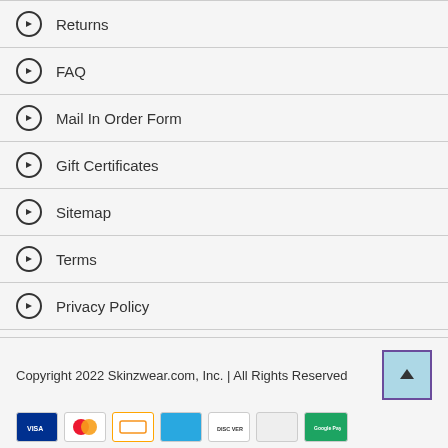Returns
FAQ
Mail In Order Form
Gift Certificates
Sitemap
Terms
Privacy Policy
Accessibility
Copyright 2022 Skinzwear.com, Inc. | All Rights Reserved